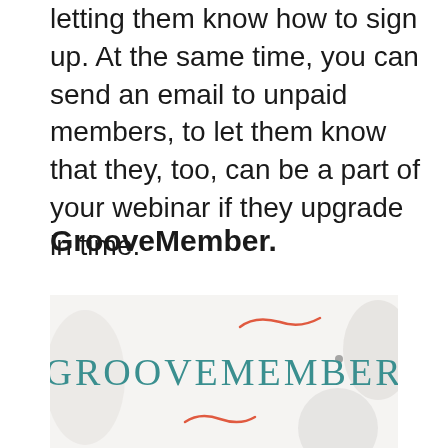letting them know how to sign up. At the same time, you can send an email to unpaid members, to let them know that they, too, can be a part of your webinar if they upgrade in time.
GrooveMember.
[Figure (logo): GrooveMember logo: teal/dark-cyan serif text 'GROOVEMEMBER' on a light off-white background with decorative red brush strokes and soft gray/beige blob shapes.]